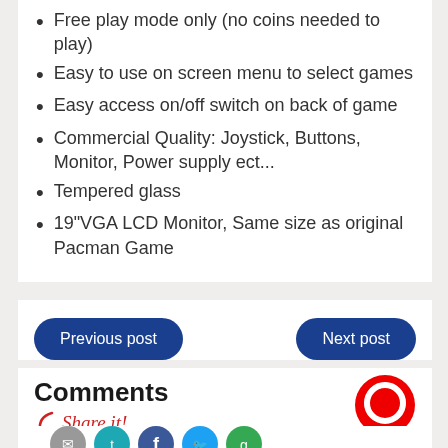Free play mode only (no coins needed to play)
Easy to use on screen menu to select games
Easy access on/off switch on back of game
Commercial Quality: Joystick, Buttons, Monitor, Power supply ect...
Tempered glass
19"VGA LCD Monitor, Same size as original Pacman Game
[Figure (screenshot): Previous post and Next post navigation buttons, blue rounded rectangles]
Comments
Share it!
[Figure (logo): Red circle chat/comment icon]